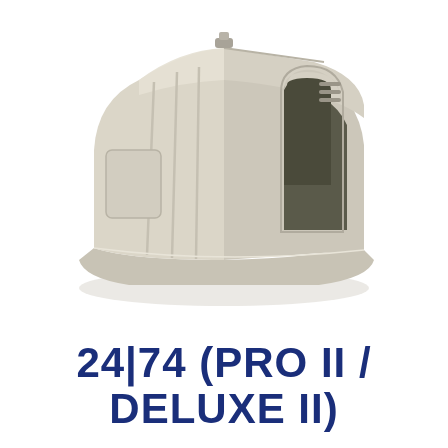[Figure (photo): A plastic dog house/kennel in beige/cream color with olive-green interior visible through the arched entrance opening. The kennel has a ridge roof design, vertical ribbing on the sides, a small rectangular vent or access panel on the side, and ventilation slits at the rear top. It sits on a flat base and is photographed at an angle showing the front opening and left side.]
24|74 (PRO II / DELUXE II)